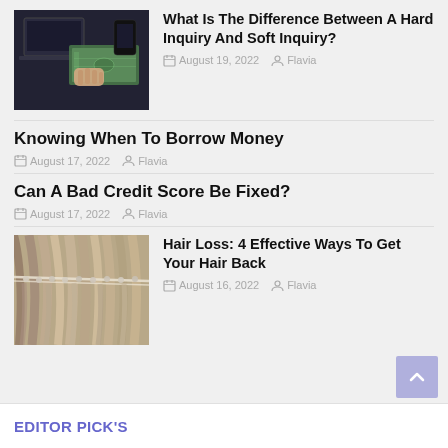[Figure (photo): Hands counting US dollar bills on a dark desk with a laptop in background]
What Is The Difference Between A Hard Inquiry And Soft Inquiry?
August 19, 2022   Flavia
Knowing When To Borrow Money
August 17, 2022   Flavia
Can A Bad Credit Score Be Fixed?
August 17, 2022   Flavia
[Figure (photo): Close-up of hair extensions or hair braiding technique on blonde hair]
Hair Loss: 4 Effective Ways To Get Your Hair Back
August 16, 2022   Flavia
EDITOR PICK'S